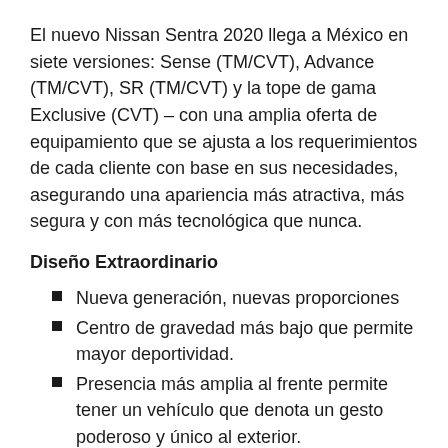El nuevo Nissan Sentra 2020 llega a México en siete versiones: Sense (TM/CVT), Advance (TM/CVT), SR (TM/CVT) y la tope de gama Exclusive (CVT) – con una amplia oferta de equipamiento que se ajusta a los requerimientos de cada cliente con base en sus necesidades, asegurando una apariencia más atractiva, más segura y con más tecnológica que nunca.
Diseño Extraordinario
Nueva generación, nuevas proporciones
Centro de gravedad más bajo que permite mayor deportividad.
Presencia más amplia al frente permite tener un vehículo que denota un gesto poderoso y único al exterior.
El vehículo de producción está en armonía con el